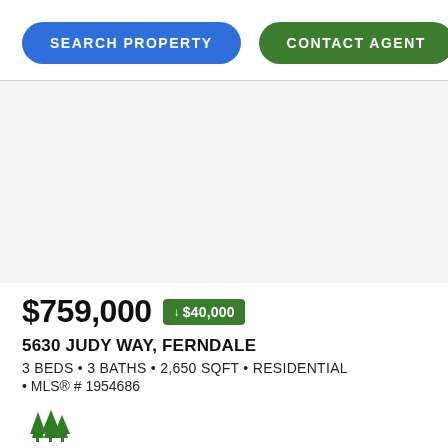SEARCH PROPERTY
CONTACT AGENT
[Figure (photo): Property listing photo area (blank/white)]
$759,000 ↓ $40,000
5630 JUDY WAY, FERNDALE
3 BEDS • 3 BATHS • 2,650 SQFT • RESIDENTIAL • MLS® # 1954686
[Figure (logo): Real estate agent or company logo — green tree/forest icon]